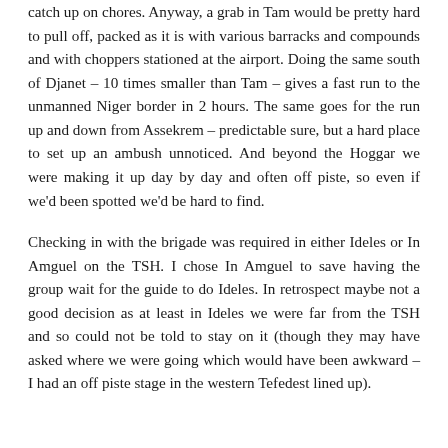catch up on chores. Anyway, a grab in Tam would be pretty hard to pull off, packed as it is with various barracks and compounds and with choppers stationed at the airport. Doing the same south of Djanet – 10 times smaller than Tam – gives a fast run to the unmanned Niger border in 2 hours. The same goes for the run up and down from Assekrem – predictable sure, but a hard place to set up an ambush unnoticed. And beyond the Hoggar we were making it up day by day and often off piste, so even if we'd been spotted we'd be hard to find.
Checking in with the brigade was required in either Ideles or In Amguel on the TSH. I chose In Amguel to save having the group wait for the guide to do Ideles. In retrospect maybe not a good decision as at least in Ideles we were far from the TSH and so could not be told to stay on it (though they may have asked where we were going which would have been awkward – I had an off piste stage in the western Tefedest lined up).